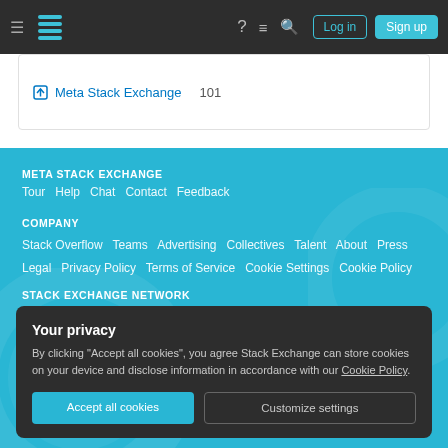Navigation bar with hamburger menu, Stack Exchange logo, help, chat, search icons, Log in and Sign up buttons
Meta Stack Exchange   101
META STACK EXCHANGE
Tour   Help   Chat   Contact   Feedback
COMPANY
Stack Overflow   Teams   Advertising   Collectives   Talent   About   Press   Legal   Privacy Policy   Terms of Service   Cookie Settings   Cookie Policy
STACK EXCHANGE NETWORK
Your privacy
By clicking "Accept all cookies", you agree Stack Exchange can store cookies on your device and disclose information in accordance with our Cookie Policy.
Accept all cookies   Customize settings